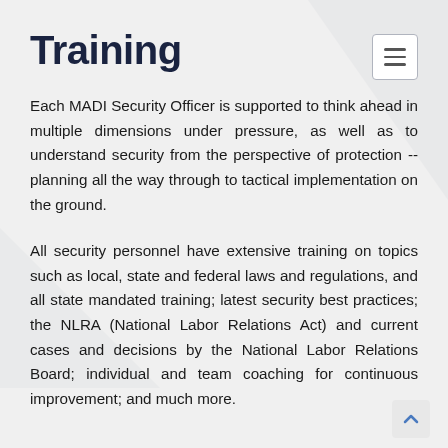Training
Each MADI Security Officer is supported to think ahead in multiple dimensions under pressure, as well as to understand security from the perspective of protection -- planning all the way through to tactical implementation on the ground.
All security personnel have extensive training on topics such as local, state and federal laws and regulations, and all state mandated training; latest security best practices; the NLRA (National Labor Relations Act) and current cases and decisions by the National Labor Relations Board; individual and team coaching for continuous improvement; and much more.